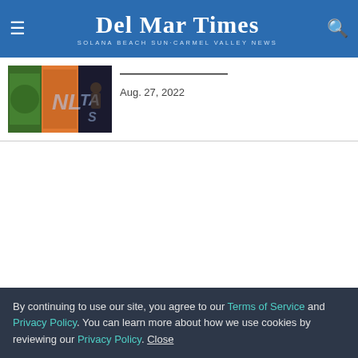Del Mar Times — Solana Beach Sun·Carmel Valley News
[Figure (photo): Thumbnail image showing colorful art banners with letters N, T, A, S visible and a figure in the background]
Aug. 27, 2022
By continuing to use our site, you agree to our Terms of Service and Privacy Policy. You can learn more about how we use cookies by reviewing our Privacy Policy. Close